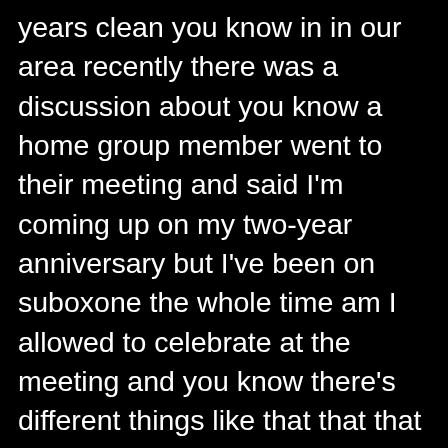years clean you know in in our area recently there was a discussion about you know a home group member went to their meeting and said I'm coming up on my two-year anniversary but I've been on suboxone the whole time am I allowed to celebrate at the meeting and you know there's different things like that that that happened so there isn't a direct answer obviously I have my feelings about it I wouldn't even say for myself personally that I think that I'm a step better than anyone on a maintenance program I would just say you know with addiction there's different ways to achieve recovery there's different ways to combat addiction and you know drug replacement therapies therapies methadone suboxone and that's just one of them just like you know therapy